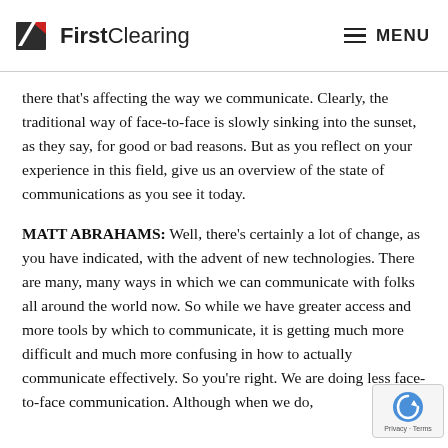FirstClearing | MENU
there that's affecting the way we communicate. Clearly, the traditional way of face-to-face is slowly sinking into the sunset, as they say, for good or bad reasons. But as you reflect on your experience in this field, give us an overview of the state of communications as you see it today.
MATT ABRAHAMS: Well, there's certainly a lot of change, as you have indicated, with the advent of new technologies. There are many, many ways in which we can communicate with folks all around the world now. So while we have greater access and more tools by which to communicate, it is getting much more difficult and much more confusing in how to actually communicate effectively. So you're right. We are doing less face-to-face communication. Although when we do,